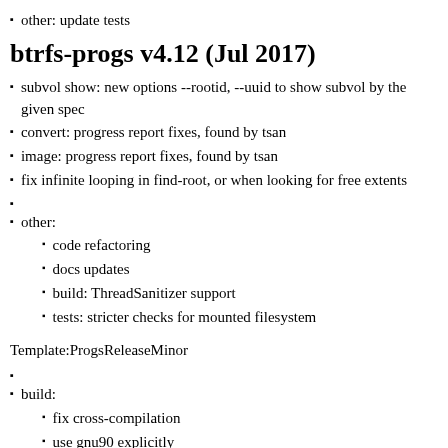other: update tests
btrfs-progs v4.12 (Jul 2017)
subvol show: new options --rootid, --uuid to show subvol by the given spec
convert: progress report fixes, found by tsan
image: progress report fixes, found by tsan
fix infinite looping in find-root, or when looking for free extents
other:
code refactoring
docs updates
build: ThreadSanitizer support
tests: stricter checks for mounted filesystem
Template:ProgsReleaseMinor
build:
fix cross-compilation
use gnu90 explicitly
dump-tree: more relaxed checks so -b can print block on a damaged fs
convert: fix the 1MB range exclusion